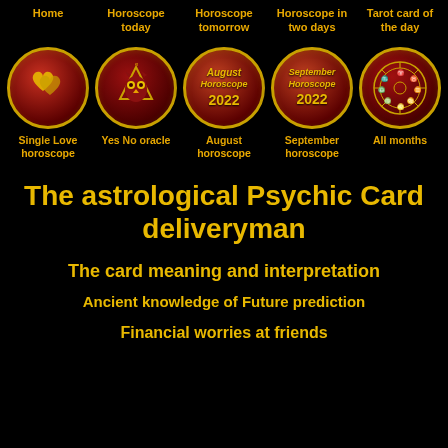Home | Horoscope today | Horoscope tomorrow | Horoscope in two days | Tarot card of the day
[Figure (illustration): Row of five circular dark-red buttons with gold borders: hearts icon (Single Love horoscope), owl icon (Yes No oracle), August Horoscope 2022 text, September Horoscope 2022 text, zodiac wheel (All months)]
The astrological Psychic Card deliveryman
The card meaning and interpretation
Ancient knowledge of Future prediction
Financial worries at friends